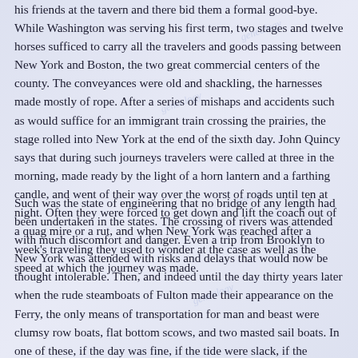his friends at the tavern and there bid them a formal good-bye. While Washington was serving his first term, two stages and twelve horses sufficed to carry all the travelers and goods passing between New York and Boston, the two great commercial centers of the county. The conveyances were old and shackling, the harnesses made mostly of rope. After a series of mishaps and accidents such as would suffice for an immigrant train crossing the prairies, the stage rolled into New York at the end of the sixth day. John Quincy says that during such journeys travelers were called at three in the morning, made ready by the light of a horn lantern and a farthing candle, and went of their way over the worst of roads until ten at night. Often they were forced to get down and lift the coach out of a quag mire or a rut, and when New York was reached after a week's traveling they used to wonder at the case as well as the speed at which the journey was made.
Such was the state of engineering that no bridge of any length had been undertaken in the states. The crossing of rivers was attended with much discomfort and danger. Even a trip from Brooklyn to New York was attended with risks and delays that would now be thought intolerable. Then, and indeed until the day thirty years later when the rude steamboats of Fulton made their appearance on the Ferry, the only means of transportation for man and beast were clumsy row boats, flat bottom scows, and two masted sail boats. In one of these, if the day was fine, if the tide were slack, if the watermen were sober, and if the boat did not put back several times